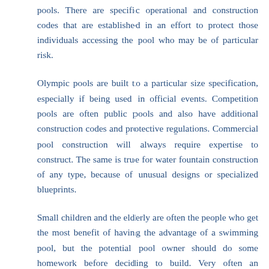pools. There are specific operational and construction codes that are established in an effort to protect those individuals accessing the pool who may be of particular risk.
Olympic pools are built to a particular size specification, especially if being used in official events. Competition pools are often public pools and also have additional construction codes and protective regulations. Commercial pool construction will always require expertise to construct. The same is true for water fountain construction of any type, because of unusual designs or specialized blueprints.
Small children and the elderly are often the people who get the most benefit of having the advantage of a swimming pool, but the potential pool owner should do some homework before deciding to build. Very often an experienced specialized pool contractor will